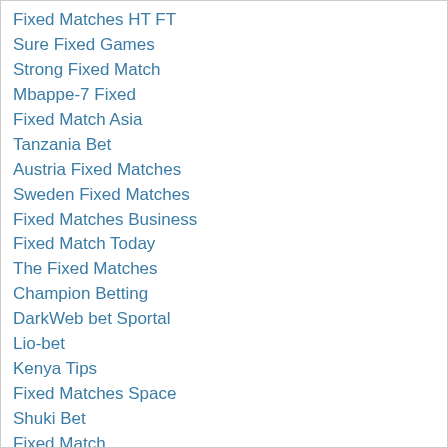Fixed Matches HT FT
Sure Fixed Games
Strong Fixed Match
Mbappe-7 Fixed
Fixed Match Asia
Tanzania Bet
Austria Fixed Matches
Sweden Fixed Matches
Fixed Matches Business
Fixed Match Today
The Fixed Matches
Champion Betting
DarkWeb bet Sportal
Lio-bet
Kenya Tips
Fixed Matches Space
Shuki Bet
Fixed Match
Bet Ticket Online
Daily Fixed Matches
Pro Fix Bet
Fixed Matches Click